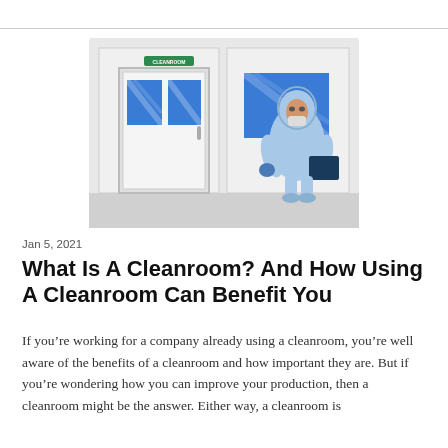[Figure (illustration): Illustration of a cleanroom entrance with a door labeled CLEANROOM in green, blue glass panels on the door and wall, and a person in full blue protective hazmat suit and face mask holding a clipboard/laptop, standing in front of the cleanroom door.]
Jan 5, 2021
What Is A Cleanroom? And How Using A Cleanroom Can Benefit You
If you’re working for a company already using a cleanroom, you’re well aware of the benefits of a cleanroom and how important they are. But if you’re wondering how you can improve your production, then a cleanroom might be the answer. Either way, a cleanroom is